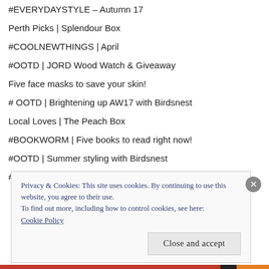#EVERYDAYSTYLE – Autumn 17
Perth Picks | Splendour Box
#COOLNEWTHINGS | April
#OOTD | JORD Wood Watch & Giveaway
Five face masks to save your skin!
# OOTD | Brightening up AW17 with Birdsnest
Local Loves | The Peach Box
#BOOKWORM | Five books to read right now!
#OOTD | Summer styling with Birdsnest
#WANDERLUST | Five days in Kuala Lumpur
Privacy & Cookies: This site uses cookies. By continuing to use this website, you agree to their use.
To find out more, including how to control cookies, see here: Cookie Policy
Close and accept